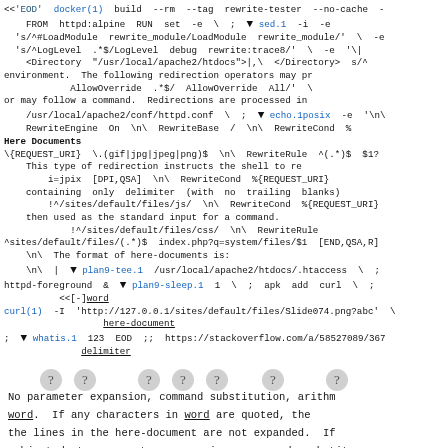[Figure (screenshot): Terminal/code screenshot showing a docker build command with heredoc syntax, apache2 rewrite module configuration, and curl testing commands. Blue hyperlinks to man pages (docker(1), sed.1, echo.1posix, plan9-tee.1, plan9-sleep.1, whatis.1, curl(1)). Overlaid with explanatory text about Here Documents and redirection operators.]
Here Documents
This type of redirection instructs the shell to re
containing only delimiter (with no trailing blanks)
then used as the standard input for a command.
The format of here-documents is:
[Figure (infographic): Diagram showing <<[-]word / here-document / delimiter with question mark circles above and underline annotations]
No parameter expansion, command substitution, arithm
word. If any characters in word are quoted, the
the lines in the here-document are not expanded. If
subjected to parameter expansion, command substit